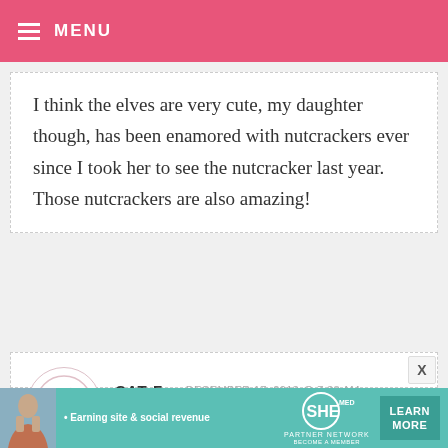MENU
I think the elves are very cute, my daughter though, has been enamored with nutcrackers ever since I took her to see the nutcracker last year. Those nutcrackers are also amazing!
CAT F — DECEMBER 17, 2013 @ 7:38 AM  REPLY
The gingerbread girl Is super sweet. But I love all of them! <3
[Figure (infographic): Advertisement banner: SHE Media Partner Network — Earning site & social revenue. Learn More button.]